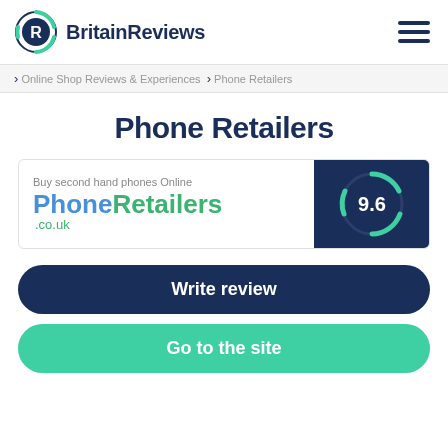BritainReviews
Online Shop Reviews & Experiences > Phone Retailers
Phone Retailers
[Figure (logo): PhoneRetailers.co.uk logo card with score badge showing 9.6]
Write review
Go to the site